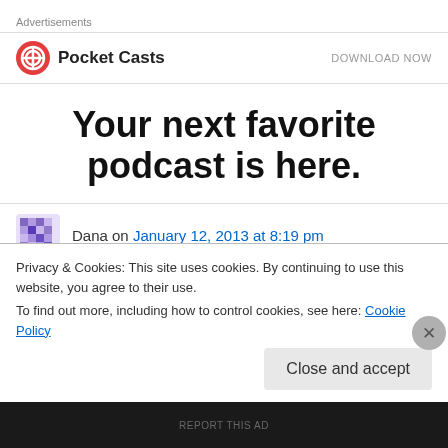Advertisements
[Figure (logo): Pocket Casts logo with red circular icon and 'Pocket Casts' text, with 'DOWNLOAD NOW' call to action on the right]
Your next favorite podcast is here.
Dana on January 12, 2013 at 8:19 pm
Do you know of any sites that offer sample or
Privacy & Cookies: This site uses cookies. By continuing to use this website, you agree to their use. To find out more, including how to control cookies, see here: Cookie Policy